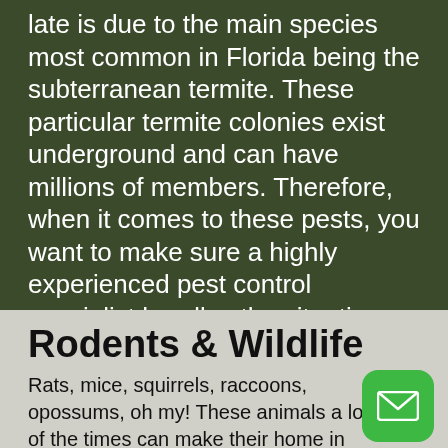late is due to the main species most common in Florida being the subterranean termite. These particular termite colonies exist underground and can have millions of members. Therefore, when it comes to these pests, you want to make sure a highly experienced pest control specialist handles the situation.
Rodents & Wildlife
Rats, mice, squirrels, raccoons, opossums, oh my! These animals a lot of the times can make their home in